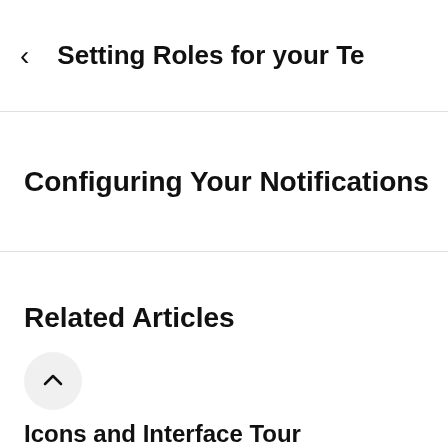< Setting Roles for your Te
Configuring Your Notifications
Related Articles
Icons and Interface Tour